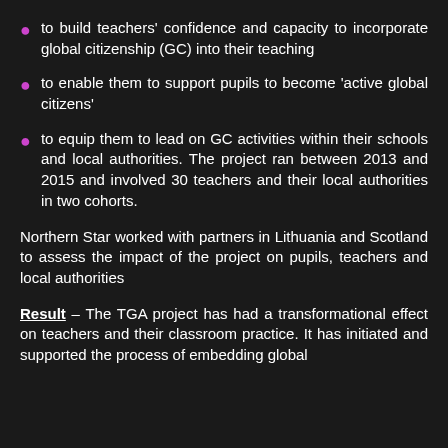to build teachers' confidence and capacity to incorporate global citizenship (GC) into their teaching
to enable them to support pupils to become 'active global citizens'
to equip them to lead on GC activities within their schools and local authorities. The project ran between 2013 and 2015 and involved 30 teachers and their local authorities in two cohorts.
Northern Star worked with partners in Lithuania and Scotland to assess the impact of the project on pupils, teachers and local authorities
Result – The TGA project has had a transformational effect on teachers and their classroom practice. It has initiated and supported the process of embedding global